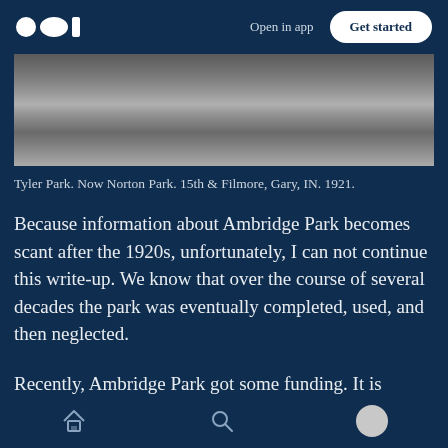Open in app   Get started
[Figure (photo): Black and white photograph of Tyler Park (now Norton Park) at 15th & Filmore, Gary, IN, taken in 1921. Shows a landscape with terrain and trees in the background.]
Tyler Park. Now Norton Park. 15th & Filmore, Gary, IN. 1921.
Because information about Ambridge Park becomes scant after the 1920s, unfortunately, I can not continue this write-up. We know that over the course of several decades the park was eventually completed, used, and then neglected.
Recently, Ambridge Park got some funding. It is currently under construction for the completion
Home  Search  Profile